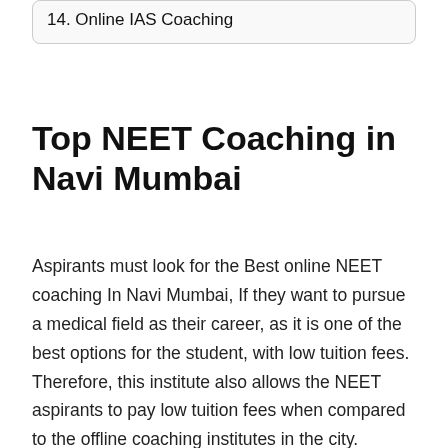14. Online IAS Coaching
Top NEET Coaching in Navi Mumbai
Aspirants must look for the Best online NEET coaching In Navi Mumbai, If they want to pursue a medical field as their career, as it is one of the best options for the student, with low tuition fees. Therefore, this institute also allows the NEET aspirants to pay low tuition fees when compared to the offline coaching institutes in the city. Facilities such as preparation notes, audio, and